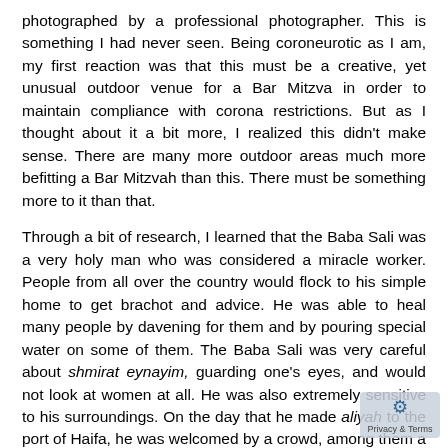photographed by a professional photographer.  This is something I had never seen. Being coroneurotic as I am, my first reaction was that this must be a creative, yet unusual outdoor venue for a Bar Mitzva in order to maintain compliance with corona restrictions. But as I thought about it a bit more, I realized this didn't make sense.  There are many more outdoor areas much more befitting a Bar Mitzvah than this.  There must be something more to it than that.
Through a bit of research, I learned that the Baba Sali was a very holy man who was considered a miracle worker.  People from all over the country would flock to his simple home to get brachot and advice.  He was able to heal many people by davening for them and by pouring special water on some of them.  The Baba Sali was very careful about shmirat eynayim, guarding one's eyes, and would not look at women at all.  He was also extremely sensitive to his surroundings.  On the day that he made aliyah to the port of Haifa, he was welcomed by a crowd, among them a government minister.  The minister offered him a ride in his car.  However, the Baba Sali